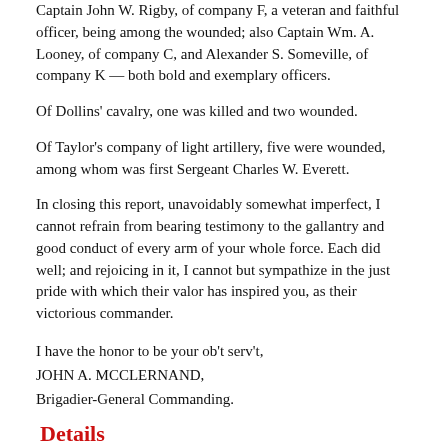Captain John W. Rigby, of company F, a veteran and faithful officer, being among the wounded; also Captain Wm. A. Looney, of company C, and Alexander S. Someville, of company K — both bold and exemplary officers.
Of Dollins' cavalry, one was killed and two wounded.
Of Taylor's company of light artillery, five were wounded, among whom was first Sergeant Charles W. Everett.
In closing this report, unavoidably somewhat imperfect, I cannot refrain from bearing testimony to the gallantry and good conduct of every arm of your whole force. Each did well; and rejoicing in it, I cannot but sympathize in the just pride with which their valor has inspired you, as their victorious commander.
I have the honor to be your ob't serv't,
JOHN A. MCCLERNAND,
Brigadier-General Commanding.
Details
| Title |  |
| --- | --- |
| Title | 'Gen. McClernand's Report of the Battle of Belmont.' in the 'Illinois State Register, 22 |